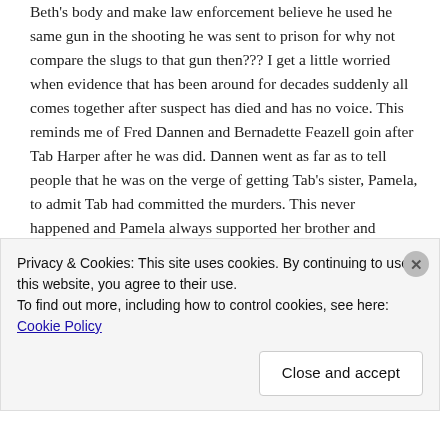Beth's body and make law enforcement believe he used he same gun in the shooting he was sent to prison for why not compare the slugs to that gun then??? I get a little worried when evidence that has been around for decades suddenly all comes together after suspect has died and has no voice. This reminds me of Fred Dannen and Bernadette Feazell goin after Tab Harper after he was did. Dannen went as far as to tell people that he was on the verge of getting Tab's sister, Pamela, to admit Tab had committed the murders. This never happened and Pamela always supported her brother and defended him. She has passed away and where is Fred Dannen now? Hiding from the lies he told and the promises he could keep. With the Bramlett
Privacy & Cookies: This site uses cookies. By continuing to use this website, you agree to their use.
To find out more, including how to control cookies, see here: Cookie Policy
Close and accept